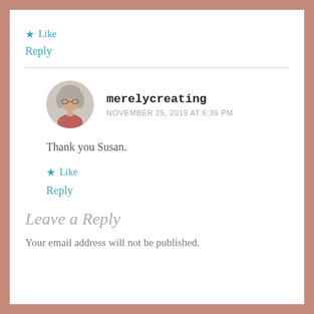★ Like
Reply
[Figure (photo): Circular avatar photo of an older woman with gray hair and glasses]
merelycreating
NOVEMBER 25, 2019 AT 6:36 PM
Thank you Susan.
★ Like
Reply
Leave a Reply
Your email address will not be published.